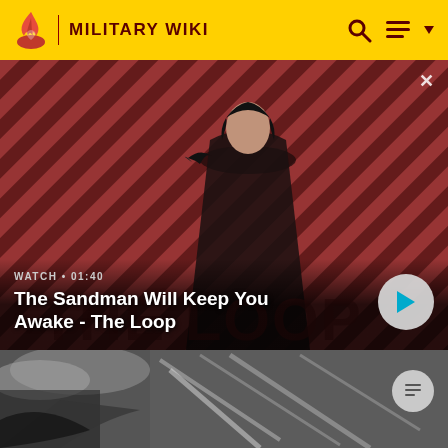MILITARY WIKI
[Figure (screenshot): Video thumbnail showing a dark-cloaked figure with a crow on shoulder against red diagonal striped background. Text overlay: WATCH • 01:40 / The Sandman Will Keep You Awake - The Loop]
The Sandman Will Keep You Awake - The Loop
[Figure (photo): Black and white aerial photograph of a damaged or destroyed bridge/structure]